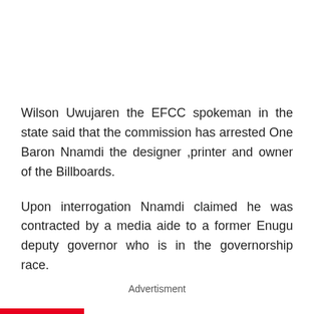Wilson Uwujaren the EFCC spokeman in the state said that the commission has arrested One Baron Nnamdi the designer ,printer and owner of the Billboards.
Upon interrogation Nnamdi claimed he was contracted by a media aide to a former Enugu deputy governor who is in the governorship race.
Advertisment